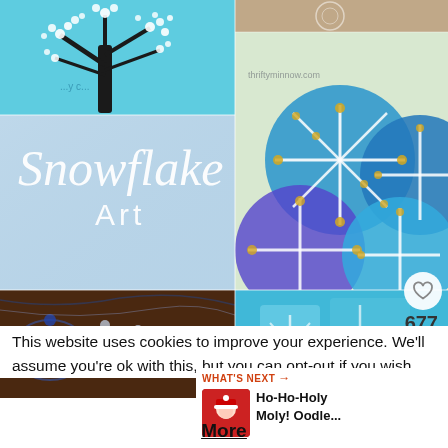[Figure (photo): Collage of snowflake art and craft images: top-left shows a painted winter tree on blue background, middle-left shows 'Snowflake Art' text on light blue background, bottom-left shows blue crystal bead snowflake ornaments on dark wood. Right column: top shows a paper doily snippet, middle shows blue felt/clay snowflake crafts on blue circles, bottom shows blue watercolor snowflake resist painting. Heart icon with 677 count and share button overlay on bottom-right.]
This website uses cookies to improve your experience. We'll assume you're ok with this, but you can opt-out if you wish.
[Figure (photo): Thumbnail for 'What's Next' — Ho-Ho-Holy Moly Oodle... article with Santa-themed image]
WHAT'S NEXT →
Ho-Ho-Holy Moly! Oodle...
More